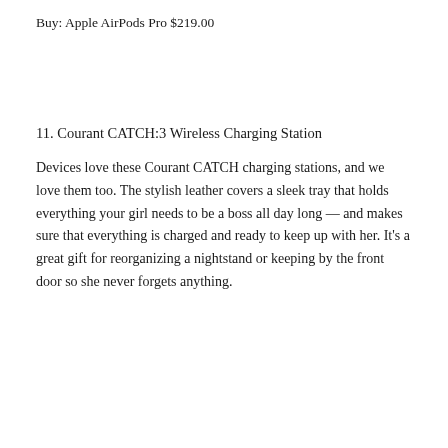Buy: Apple AirPods Pro $219.00
11. Courant CATCH:3 Wireless Charging Station
Devices love these Courant CATCH charging stations, and we love them too. The stylish leather covers a sleek tray that holds everything your girl needs to be a boss all day long — and makes sure that everything is charged and ready to keep up with her. It's a great gift for reorganizing a nightstand or keeping by the front door so she never forgets anything.